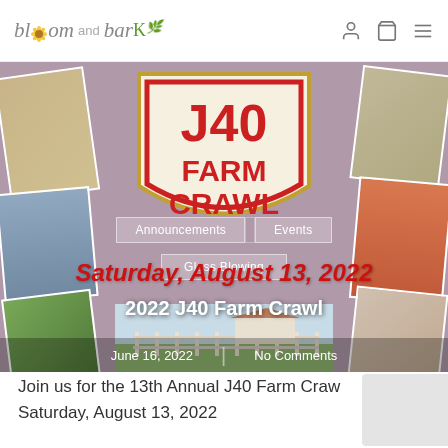bloom and bark
[Figure (screenshot): Hero banner for 2022 J40 Farm Crawl blog post. Center shows J40 Farm Crawl road sign in red and yellow. Surrounding collage of farm photos. Navigation links: Announcements, Events, Glass Blowing. Large red italic text: Saturday, August 13, 2022. White overlay title: 2022 J40 Farm Crawl. Meta: June 16, 2022 | No Comments.]
2022 J40 Farm Crawl
June 16, 2022   |   No Comments
Join us for the 13th Annual J40 Farm Crawl Saturday, August 13, 2022